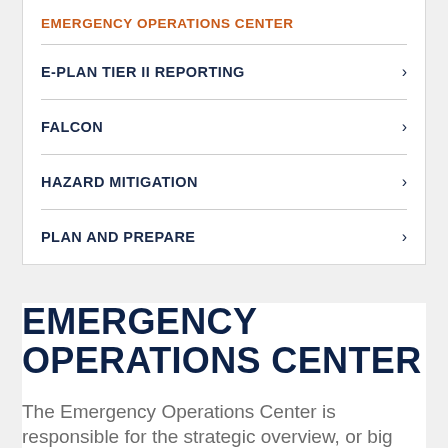EMERGENCY OPERATIONS CENTER
E-PLAN TIER II REPORTING
FALCON
HAZARD MITIGATION
PLAN AND PREPARE
EMERGENCY OPERATIONS CENTER
The Emergency Operations Center is responsible for the strategic overview, or big picture, of any disaster or...